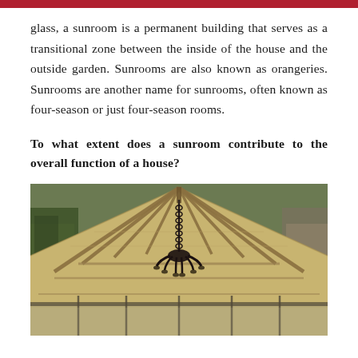glass, a sunroom is a permanent building that serves as a transitional zone between the inside of the house and the outside garden. Sunrooms are also known as orangeries. Sunrooms are another name for sunrooms, often known as four-season or just four-season rooms.
To what extent does a sunroom contribute to the overall function of a house?
[Figure (photo): Interior view of a sunroom ceiling with exposed wooden beam rafters forming a vaulted structure, glass walls on the sides, and a decorative wrought iron chandelier hanging from the center peak.]